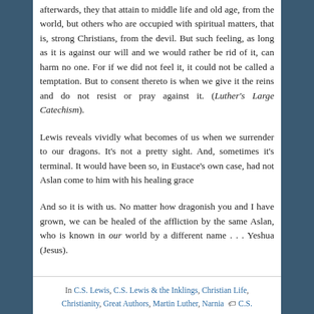afterwards, they that attain to middle life and old age, from the world, but others who are occupied with spiritual matters, that is, strong Christians, from the devil. But such feeling, as long as it is against our will and we would rather be rid of it, can harm no one. For if we did not feel it, it could not be called a temptation. But to consent thereto is when we give it the reins and do not resist or pray against it. (Luther's Large Catechism).
Lewis reveals vividly what becomes of us when we surrender to our dragons. It's not a pretty sight. And, sometimes it's terminal. It would have been so, in Eustace's own case, had not Aslan come to him with his healing grace
And so it is with us. No matter how dragonish you and I have grown, we can be healed of the affliction by the same Aslan, who is known in our world by a different name . . . Yeshua (Jesus).
In C.S. Lewis, C.S. Lewis & the Inklings, Christian Life, Christianity, Great Authors, Martin Luther, Narnia  C.S.